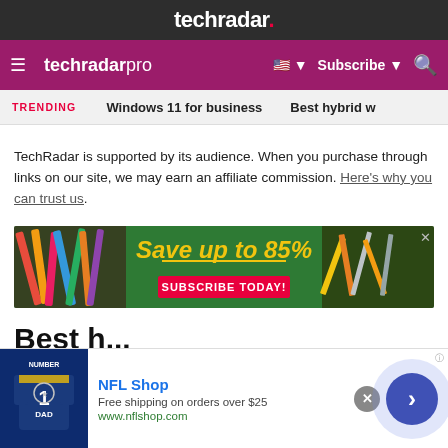techradar.
techradar pro  Subscribe
TRENDING   Windows 11 for business   Best hybrid w
TechRadar is supported by its audience. When you purchase through links on our site, we may earn an affiliate commission. Here's why you can trust us.
[Figure (other): Advertisement banner: green chalkboard background with school supplies (pencils, rulers, scissors). Text: Save up to 85% SUBSCRIBE TODAY!]
Best h...
[Figure (other): Bottom ad bar: NFL Shop. Free shipping on orders over $25. www.nflshop.com. Shows a Dallas Cowboys jersey. Navigation arrow button.]